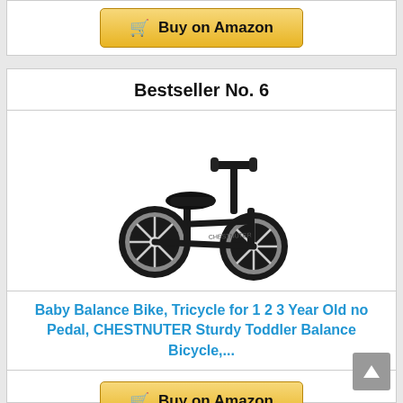[Figure (other): Buy on Amazon button (cart icon + text) with golden gradient background at top of page]
Bestseller No. 6
[Figure (photo): Black children's balance bike / tricycle with no pedals, three-wheeled toddler bicycle, CHESTNUTER brand, shown on white background]
Baby Balance Bike, Tricycle for 1 2 3 Year Old no Pedal, CHESTNUTER Sturdy Toddler Balance Bicycle,...
[Figure (other): Buy on Amazon button (cart icon + text) with golden gradient background at bottom of page]